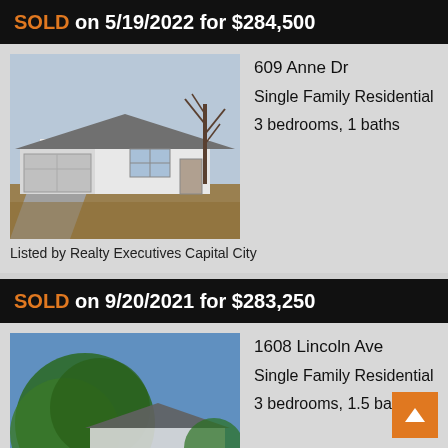SOLD on 5/19/2022 for $284,500
[Figure (photo): Ranch-style house with bare trees, brown landscaping, attached garage, winter/early spring photo]
609 Anne Dr
Single Family Residential
3 bedrooms, 1 baths
Listed by Realty Executives Capital City
SOLD on 9/20/2021 for $283,250
[Figure (photo): House surrounded by large green trees, summer/spring photo with green lawn]
1608 Lincoln Ave
Single Family Residential
3 bedrooms, 1.5 baths